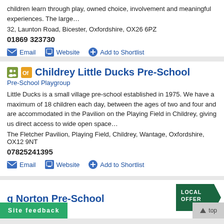children learn through play, owned choice, involvement and meaningful experiences. The large…
32, Launton Road, Bicester, Oxfordshire, OX26 6PZ
01869 323730
Email | Website | Add to Shortlist
Childrey Little Ducks Pre-School
Pre-School Playgroup
Little Ducks is a small village pre-school established in 1975. We have a maximum of 18 children each day, between the ages of two and four and are accommodated in the Pavilion on the Playing Field in Childrey, giving us direct access to wide open space…
The Fletcher Pavilion, Playing Field, Childrey, Wantage, Oxfordshire, OX12 9NT
07825241395
Email | Website | Add to Shortlist
[Figure (logo): LOCAL OFFER arrow badge in dark green]
Norton Pre-School
Site feedback
top